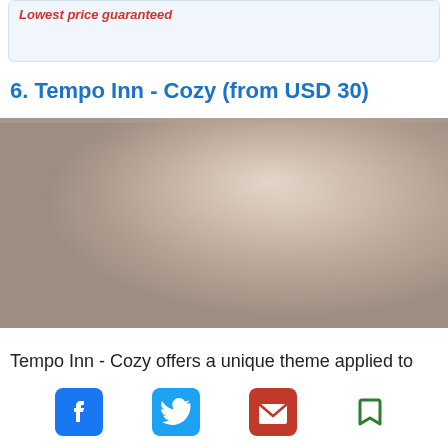Lowest price guaranteed
6. Tempo Inn - Cozy (from USD 30)
[Figure (photo): Hotel room interior photo showing beige/tan walls with soft gradient lighting]
Tempo Inn - Cozy offers a unique theme applied to each r... the walls... nts.